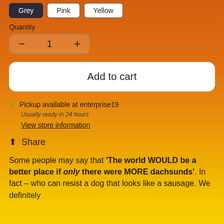Grey | Pink | Yellow (color selection buttons)
Quantity
- 1 +
Add to cart
✓ Pickup available at enterprise19
Usually ready in 24 hours
View store information
Share
Some people may say that 'The world WOULD be a better place if only there were MORE dachsunds'. In fact – who can resist a dog that looks like a sausage. We definitely